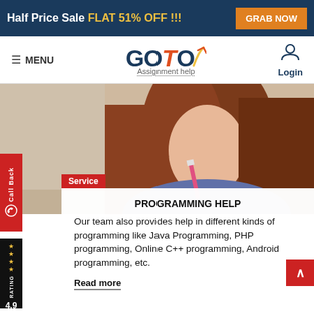Half Price Sale FLAT 51% OFF !!!  GRAB NOW
[Figure (logo): GOTO Assignment help logo with menu and login]
[Figure (photo): Young woman with red hair studying, holding a pencil to her mouth]
Service
PROGRAMMING HELP
Our team also provides help in different kinds of programming like Java Programming, PHP programming, Online C++ programming, Android programming, etc.
Read more